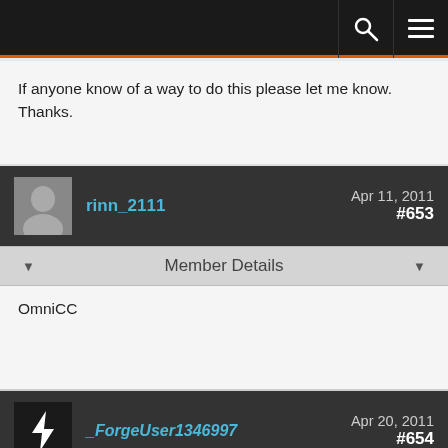Navigation bar with search and menu icons
If anyone know of a way to do this please let me know. Thanks.
rinn_2111   Apr 11, 2011   #653
Member Details
OmniCC
_ForgeUser1346997   Apr 20, 2011   #654
Member Details